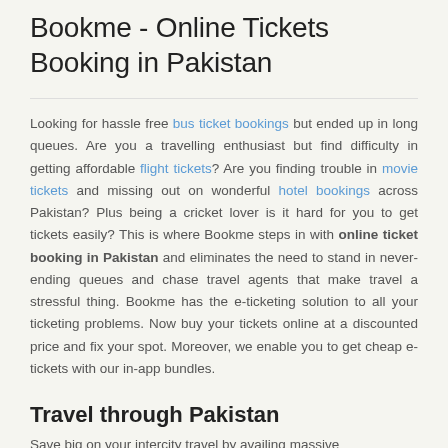Bookme - Online Tickets Booking in Pakistan
Looking for hassle free bus ticket bookings but ended up in long queues. Are you a travelling enthusiast but find difficulty in getting affordable flight tickets? Are you finding trouble in movie tickets and missing out on wonderful hotel bookings across Pakistan? Plus being a cricket lover is it hard for you to get tickets easily? This is where Bookme steps in with online ticket booking in Pakistan and eliminates the need to stand in never-ending queues and chase travel agents that make travel a stressful thing. Bookme has the e-ticketing solution to all your ticketing problems. Now buy your tickets online at a discounted price and fix your spot. Moreover, we enable you to get cheap e-tickets with our in-app bundles.
Travel through Pakistan
Save big on your intercity travel by availing massive